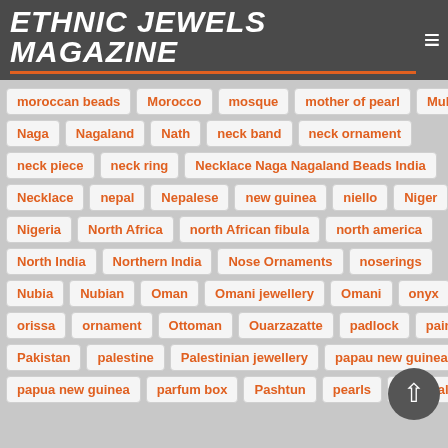ETHNIC JEWELS MAGAZINE
moroccan beads
Morocco
mosque
mother of pearl
Multan
Naga
Nagaland
Nath
neck band
neck ornament
neck piece
neck ring
Necklace Naga Nagaland Beads India
Necklace
nepal
Nepalese
new guinea
niello
Niger
Nigeria
North Africa
north African fibula
north america
North India
Northern India
Nose Ornaments
noserings
Nubia
Nubian
Oman
Omani jewellery
Omani
onyx
orissa
ornament
Ottoman
Ouarzazatte
padlock
painted
Pakistan
palestine
Palestinian jewellery
papau new guinea
papua new guinea
parfum box
Pashtun
pearls
pectoral